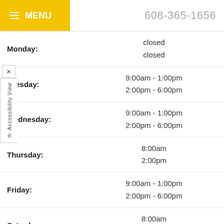MENU    608-365-1656
| Day | Hours |
| --- | --- |
| Monday: | closed
closed |
| Tuesday: | 9:00am - 1:00pm
2:00pm - 6:00pm |
| Wednesday: | 9:00am - 1:00pm
2:00pm - 6:00pm |
| Thursday: | 8:00am
2:00pm |
| Friday: | 9:00am - 1:00pm
2:00pm - 6:00pm |
| Saturday: | 8:00am
2:00pm |
| Sunday: | closed
closed |